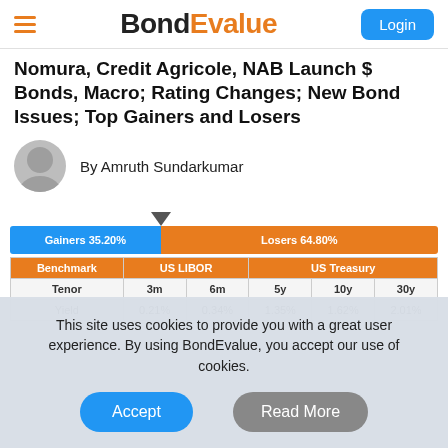BondEvalue | Login
Nomura, Credit Agricole, NAB Launch $ Bonds, Macro; Rating Changes; New Bond Issues; Top Gainers and Losers
By Amruth Sundarkumar
[Figure (bar-chart): Gainers vs Losers]
| Benchmark | US LIBOR |  | US Treasury |  |  |
| --- | --- | --- | --- | --- | --- |
| Tenor | 3m | 6m | 5y | 10y | 30y |
| Yield | 0.21% | 0.34% | 1.35% | 1.62% | 2.01% |
This site uses cookies to provide you with a great user experience. By using BondEvalue, you accept our use of cookies.